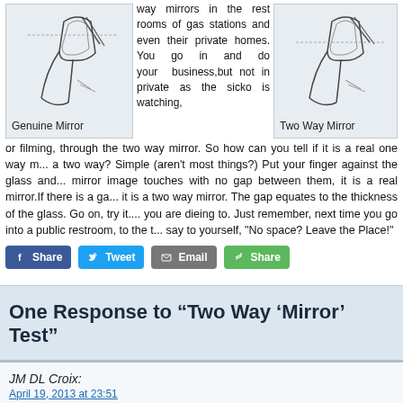[Figure (illustration): Hand-drawn illustration of a finger touching a Genuine Mirror, showing no gap between finger and reflection]
Genuine Mirror
way mirrors in the rest rooms of gas stations and even their private homes. You go in and do your business,but not in private as the sicko is watching, or filming, through the two way mirror. So how can you tell if it is a real one way mirror or a two way? Simple (aren't most things?) Put your finger against the glass and if the mirror image touches with no gap between them, it is a real mirror.If there is a gap, it is a two way mirror. The gap equates to the thickness of the glass. Go on, try it. I know you are dieing to. Just remember, next time you go into a public restroom, to the touch test and say to yourself, "No space? Leave the Place!"
[Figure (illustration): Hand-drawn illustration of a finger touching a Two Way Mirror, showing a gap between finger and reflection]
Two Way Mirror
Share Tweet Email Share
One Response to “Two Way ‘Mirror’ Test”
JM DL Croix:
April 19, 2013 at 23:51
The information provided in the article is confusing.
“Put your finger against the glass and if the mirror image touches with no gap between them, it is a real mirror.If there is a gap, then it is a two way mirr...
And then later on the article, “No space? Leave the Place!”.
I assume you mean no gap and no space is the same.
Please clarify which is the genuine mirror, the one with no gap or no space...